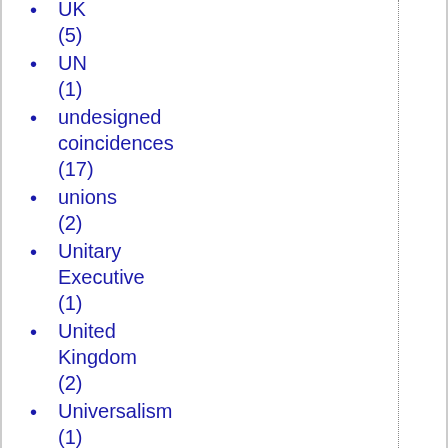UK (5)
UN (1)
undesigned coincidences (17)
unions (2)
Unitary Executive (1)
United Kingdom (2)
Universalism (1)
universalism (1)
University Bookman (1)
Unpatriotic Conservatives (1)
Urban